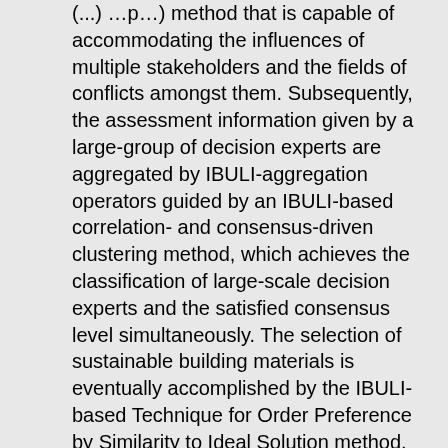(…) …p…) method that is capable of accommodating the influences of multiple stakeholders and the fields of conflicts amongst them. Subsequently, the assessment information given by a large-group of decision experts are aggregated by IBULI-aggregation operators guided by an IBULI-based correlation- and consensus-driven clustering method, which achieves the classification of large-scale decision experts and the satisfied consensus level simultaneously. The selection of sustainable building materials is eventually accomplished by the IBULI-based Technique for Order Preference by Similarity to Ideal Solution method. Finally, an illustrative example accompanied by sensitivity and comparative analyses is performed to